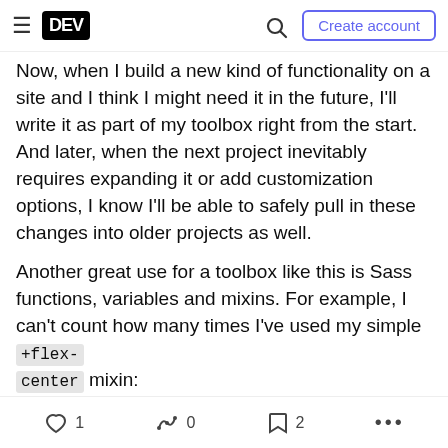DEV | Create account
Now, when I build a new kind of functionality on a site and I think I might need it in the future, I'll write it as part of my toolbox right from the start. And later, when the next project inevitably requires expanding it or add customization options, I know I'll be able to safely pull in these changes into older projects as well.
Another great use for a toolbox like this is Sass functions, variables and mixins. For example, I can't count how many times I've used my simple +flex-center mixin:
[Figure (screenshot): Dark code block showing the beginning of a Sass mixin: =flex-center($direction: column)]
1  0  2  ...